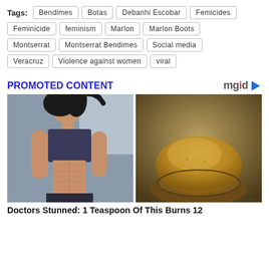Tags: Bendimes  Botas  Debanhi Escobar  Femicides  Feminicide  feminism  Marlon  Marlon Boots  Montserrat  Montserrat Bendimes  Social media  Veracruz  Violence against women  viral
PROMOTED CONTENT
[Figure (photo): Promoted content ad images: left image shows a fit woman in a sports bra; right image shows a spoonful of yellow-brown spice powder]
Doctors Stunned: 1 Teaspoon Of This Burns 12